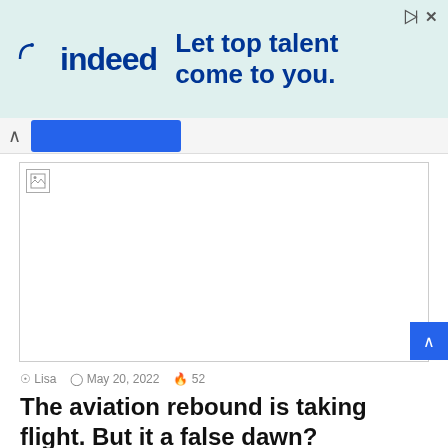[Figure (screenshot): Indeed advertisement banner with teal/mint background. Indeed logo on left, tagline 'Let top talent come to you.' in bold blue text on right. Play and X icons in top right corner.]
[Figure (screenshot): Browser navigation bar with back arrow (^) and a blue tab/highlight element.]
[Figure (photo): Broken/unloaded image placeholder with small document icon in top-left corner.]
Lisa  May 20, 2022  52
The aviation rebound is taking flight. But it a false dawn?
Holidaymakers are packing their wheelies and heading for Europe's